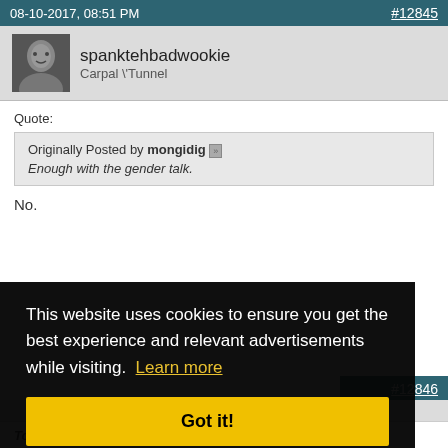08-10-2017, 08:51 PM    #12845
spanktehbadwookie
Carpal \'Tunnel
Quote:
Originally Posted by mongidig
Enough with the gender talk.
No.
This website uses cookies to ensure you get the best experience and relevant advertisements while visiting.  Learn more
Got it!
To put it bluntly, children as dumb as ****, because